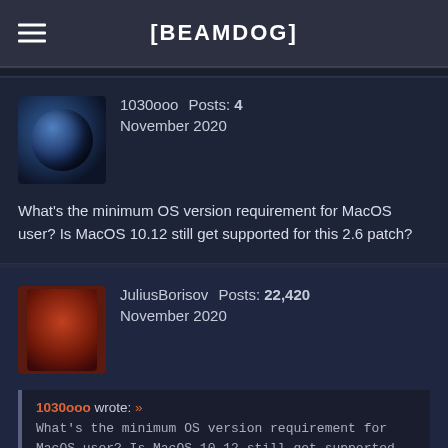[BEAMDOG]
1030ooo  Posts: 4
November 2020
What's the minimum OS version requirement for MacOS user? Is MacOS 10.12 still get supported for this 2.6 patch?
JuliusBorisov  Posts: 22,420
November 2020
1030ooo wrote: »
What's the minimum OS version requirement for MacOS user? Is MacOS 10.12 still get supported for this 2.6 patch?
It should be configured to run on 10.9, but confirming that is